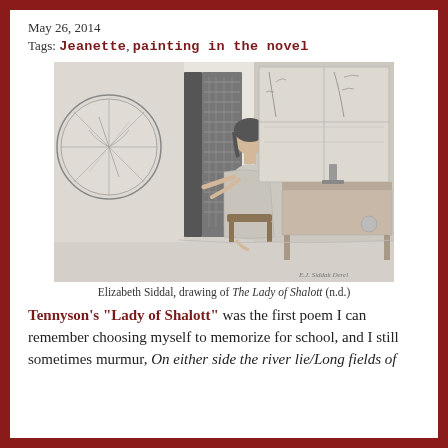May 26, 2014
Tags: Jeanette, painting in the novel
[Figure (illustration): Pencil drawing by Elizabeth Siddal of The Lady of Shalott, showing a woman seated at a loom weaving, with a large circular mirror/wheel on the left, a tall loom frame in the center, and a window with trees visible on the right.]
Elizabeth Siddal, drawing of The Lady of Shalott (n.d.)
Tennyson’s “Lady of Shalott” was the first poem I can remember choosing myself to memorize for school, and I still sometimes murmur, On either side the river lie/Long fields of